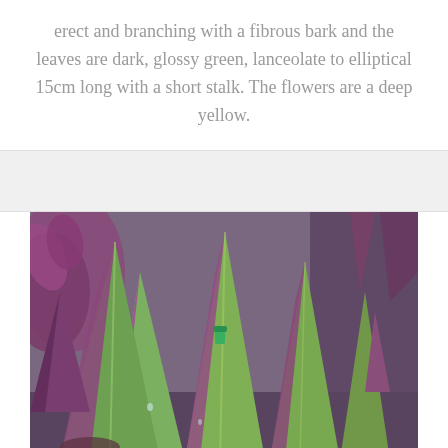erect and branching with a fibrous bark and the leaves are dark, glossy green, lanceolate to elliptical 15cm long with a short stalk. The flowers are a deep yellow.
[Figure (photo): Close-up photograph of a plant with pointed lanceolate leaves that are green on top and deep purple/magenta on the underside, characteristic of Tradescantia or similar species. Multiple leaves pointed upward. Background shows more of the same plant and some purple-leafed plants.]